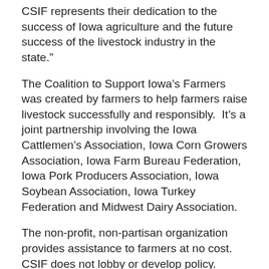CSIF represents their dedication to the success of Iowa agriculture and the future success of the livestock industry in the state."
The Coalition to Support Iowa’s Farmers was created by farmers to help farmers raise livestock successfully and responsibly.  It’s a joint partnership involving the Iowa Cattlemen’s Association, Iowa Corn Growers Association, Iowa Farm Bureau Federation, Iowa Pork Producers Association, Iowa Soybean Association, Iowa Turkey Federation and Midwest Dairy Association.
The non-profit, non-partisan organization provides assistance to farmers at no cost.  CSIF does not lobby or develop policy.  Farm families wanting a helping hand can contact the Coalition at 1-800-932-2436 or visit www.supportfarmers.com.
-30-